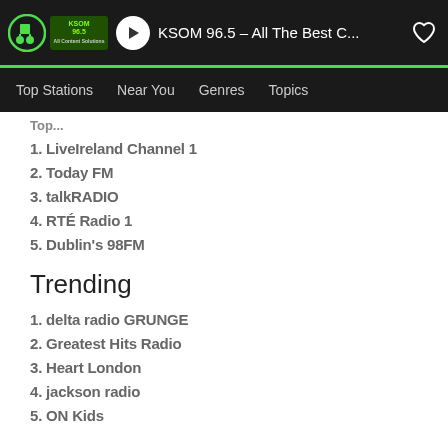KSOM 96.5 – All The Best C...
Top Stations  Near You  Genres  Topics
Top...
1. LiveIreland Channel 1
2. Today FM
3. talkRADIO
4. RTÉ Radio 1
5. Dublin's 98FM
Trending
1. delta radio GRUNGE
2. Greatest Hits Radio
3. Heart London
4. jackson radio
5. ON Kids